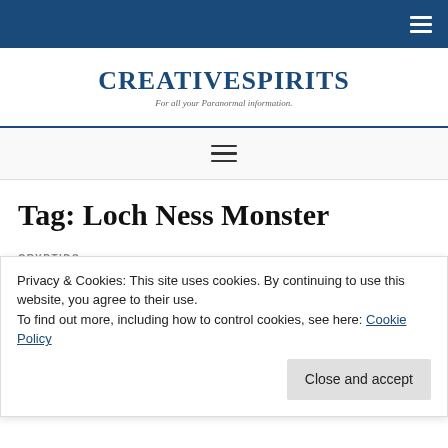CREATIVESPIRITS - For all your Paranormal information.
Tag: Loch Ness Monster
CRYPTIDS
Frank Searle (photographer)
Frank Searle (born Eric Frank Searle; 18 Ma... March 2005) was a photographer who studied the disputed
Privacy & Cookies: This site uses cookies. By continuing to use this website, you agree to their use. To find out more, including how to control cookies, see here: Cookie Policy